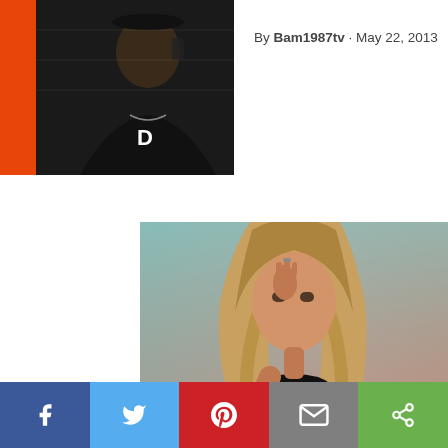[Figure (photo): Author profile photo of a man wearing all black, talking on a phone, with an orange vertical bar on the left side]
By Bam1987tv · May 22, 2013
[Figure (photo): Woman with long blonde highlighted hair posing with hand raised near face, wearing a black top, against a gradient teal-to-pink background]
Social share bar with Facebook, Twitter, Pinterest, Email, and Share buttons